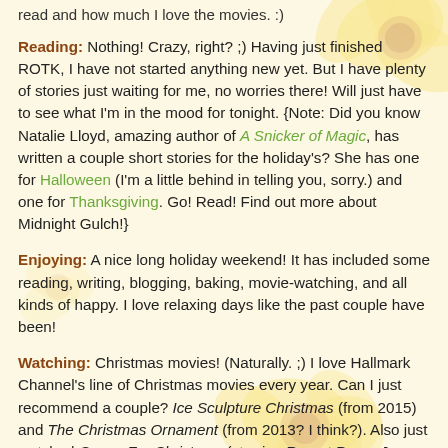read and how much I love the movies. :)
Reading: Nothing! Crazy, right? ;) Having just finished ROTK, I have not started anything new yet. But I have plenty of stories just waiting for me, no worries there! Will just have to see what I'm in the mood for tonight. {Note: Did you know Natalie Lloyd, amazing author of A Snicker of Magic, has written a couple short stories for the holiday's? She has one for Halloween (I'm a little behind in telling you, sorry.) and one for Thanksgiving. Go! Read! Find out more about Midnight Gulch!}
Enjoying: A nice long holiday weekend! It has included some reading, writing, blogging, baking, movie-watching, and all kinds of happy. I love relaxing days like the past couple have been!
Watching: Christmas movies! (Naturally. ;) I love Hallmark Channel's line of Christmas movies every year. Can I just recommend a couple? Ice Sculpture Christmas (from 2015) and The Christmas Ornament (from 2013? I think?). Also just watched Crown For Christmas (starring Rupert Penry-Jones